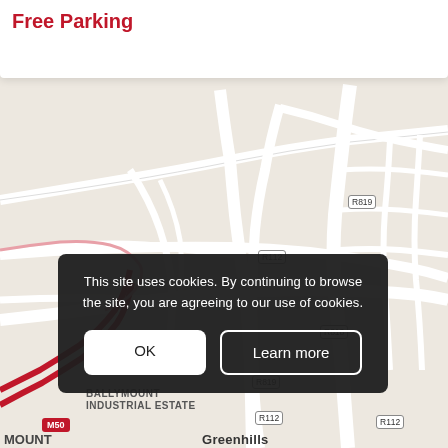Free Parking
[Figure (map): Street map showing Ballymount Industrial Estate, Greenhills, and surrounding road network in Dublin, Ireland. Roads labeled R112, R819, R818, M50. Area labels include Ballymount Rd Lower, Ballymount Industrial Estate, Greenhills, Manor Estate, Mou(nt).]
This site uses cookies. By continuing to browse the site, you are agreeing to our use of cookies.
OK
Learn more